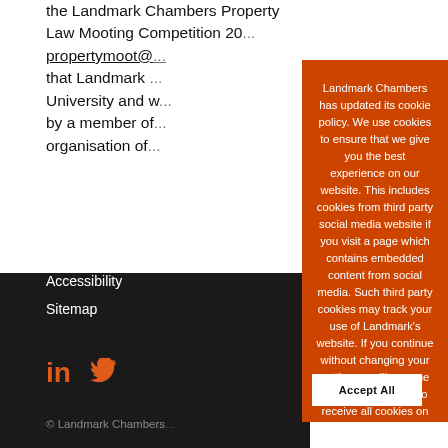the Landmark Chambers Property Law Mooting Competition 20... propertymoot@... that Landmark ... University and ... by a member of... organisation of...
Accessibility
Sitemap
[Figure (infographic): LinkedIn and Twitter social media icons in orange]
© Landmark Chambers...
Landmark Chambers has updated its cookie policy. We use cookies to ensure that we give you the best experience on our website. This includes cookies from third party social media website if you visit a page which contains embedded content from social media. Such third party cookies may track your use of Landmark's website. If you continue without changing your settings, we'll assume that you are happy to receive all cookies on the Landmark website. However, you can change your cookie settings at any time. Find out more
Accept All